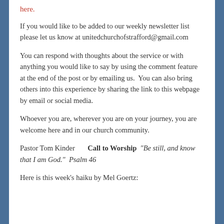here.
If you would like to be added to our weekly newsletter list please let us know at unitedchurchofstrafford@gmail.com
You can respond with thoughts about the service or with anything you would like to say by using the comment feature at the end of the post or by emailing us.  You can also bring others into this experience by sharing the link to this webpage by email or social media.
Whoever you are, wherever you are on your journey, you are welcome here and in our church community.
Pastor Tom Kinder      Call to Worship  “Be still, and know that I am God.”  Psalm 46
Here is this week’s haiku by Mel Goertz: